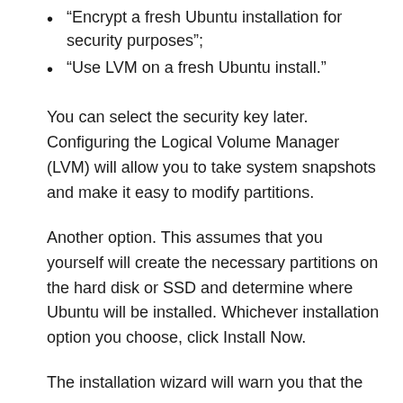“Encrypt a fresh Ubuntu installation for security purposes”;
“Use LVM on a fresh Ubuntu install.”
You can select the security key later. Configuring the Logical Volume Manager (LVM) will allow you to take system snapshots and make it easy to modify partitions.
Another option. This assumes that you yourself will create the necessary partitions on the hard disk or SSD and determine where Ubuntu will be installed. Whichever installation option you choose, click Install Now.
The installation wizard will warn you that the